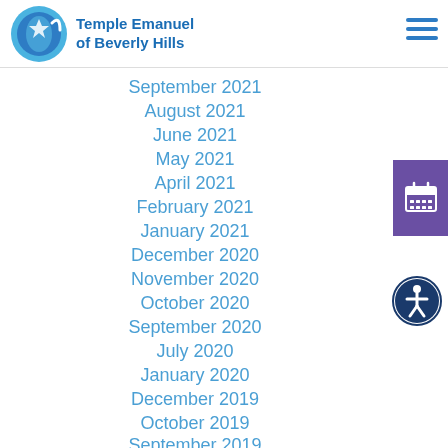Temple Emanuel of Beverly Hills
September 2021
August 2021
June 2021
May 2021
April 2021
February 2021
January 2021
December 2020
November 2020
October 2020
September 2020
July 2020
January 2020
December 2019
October 2019
September 2019
[Figure (logo): Temple Emanuel of Beverly Hills circular logo with blue globe and Star of David]
[Figure (other): Purple calendar icon button on right side]
[Figure (other): Dark blue circular accessibility icon button]